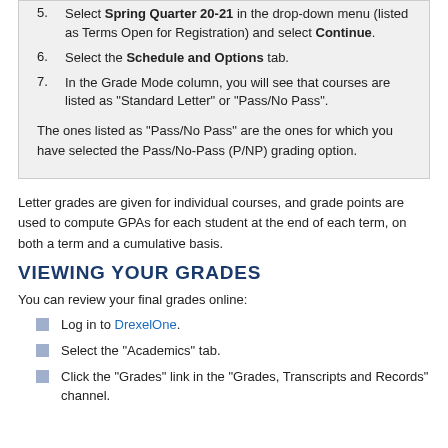5. Select Spring Quarter 20-21 in the drop-down menu (listed as Terms Open for Registration) and select Continue.
6. Select the Schedule and Options tab.
7. In the Grade Mode column, you will see that courses are listed as "Standard Letter" or "Pass/No Pass".
The ones listed as "Pass/No Pass" are the ones for which you have selected the Pass/No-Pass (P/NP) grading option.
Letter grades are given for individual courses, and grade points are used to compute GPAs for each student at the end of each term, on both a term and a cumulative basis.
VIEWING YOUR GRADES
You can review your final grades online:
Log in to DrexelOne.
Select the "Academics" tab.
Click the "Grades" link in the "Grades, Transcripts and Records" channel.